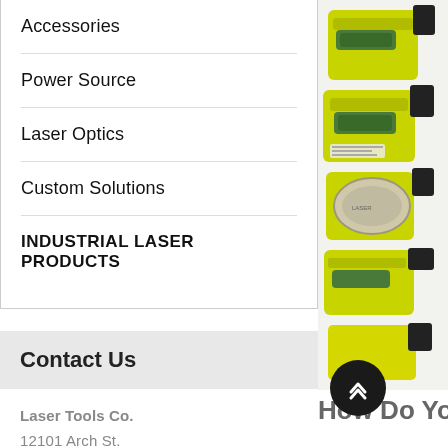Accessories
Power Source
Laser Optics
Custom Solutions
INDUSTRIAL LASER PRODUCTS
[Figure (photo): Stacked yellow laser tool devices with green sight tubes, partially visible on right side]
Contact Us
Laser Tools Co.
12101 Arch St.
Little Rock, AR 72206
United States
Toll Free: 1-800-598-5973
Tel: 1-501-562-0900
Fax: 1-501-562-0022
How Do You L
Laser Tools Co., Inc., bas in sun light making Sola project a dot with 1/8" a concentric to t een crossbeams. Th 900